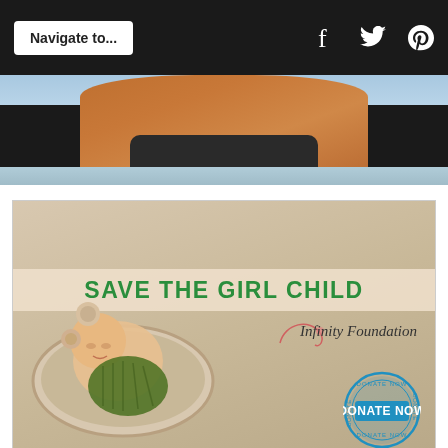Navigate to...
[Figure (photo): Cropped beach photo showing lower torso of person in black bikini at beach]
[Figure (photo): Save the Girl Child advertisement by Infinity Foundation showing a sleeping newborn baby in a knitted cocoon, with green text 'SAVE THE GIRL CHILD', a coral/pink decorative swirl, 'Infinity Foundation' in italic script, and a 'DONATE NOW' circular stamp badge]
[Figure (photo): Kynix Semiconductor advertisement banner with ad icons (triangle play button and X) in top right, and large bold text 'Kynix Semiconductor' with blue highlight]